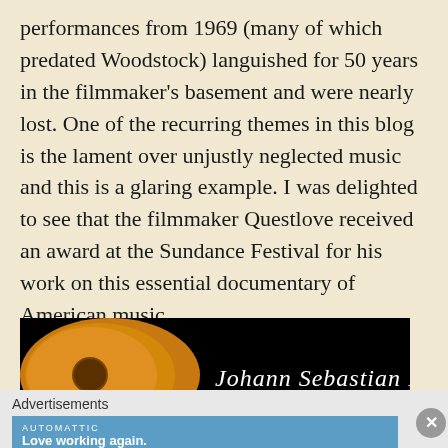performances from 1969 (many of which predated Woodstock) languished for 50 years in the filmmaker's basement and were nearly lost. One of the recurring themes in this blog is the lament over unjustly neglected music and this is a glaring example. I was delighted to see that the filmmaker Questlove received an award at the Sundance Festival for his work on this essential documentary of American music.
[Figure (photo): Dark background image showing an acoustic guitar body (warm amber/orange tones) on the left side with a guitar neck and frets extending to the right. A cursive signature reading 'Johann Sebastian Bach' is displayed in white script text on the dark right portion of the image.]
Advertisements
[Figure (screenshot): Blue advertisement banner for Automattic with text 'Love working again.' in white.]